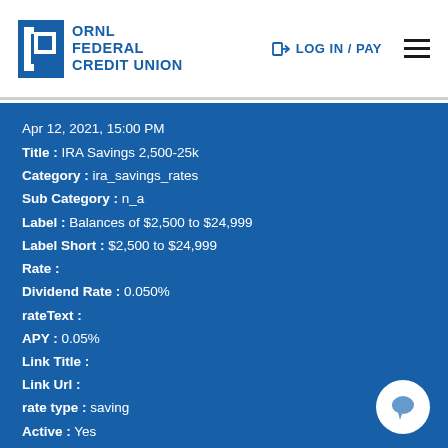[Figure (logo): ORNL Federal Credit Union logo with blue square icon and bold blue text]
LOG IN / PAY
Apr 12, 2021, 15:00 PM
Title : IRA Savings 2,500-25k
Category : ira_savings_rates
Sub Category : n_a
Label : Balances of $2,500 to $24,999
Label Short : $2,500 to $24,999
Rate :
Dividend Rate : 0.050%
rateText :
APY : 0.05%
Link Title :
Link Url :
rate type : saving
Active : Yes